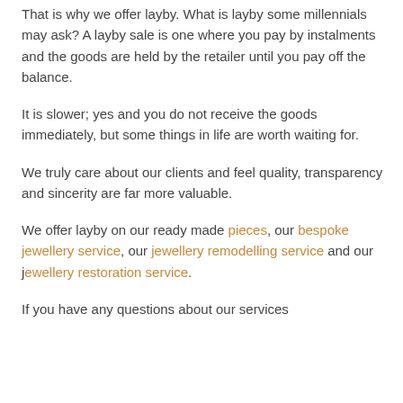That is why we offer layby. What is layby some millennials may ask? A layby sale is one where you pay by instalments and the goods are held by the retailer until you pay off the balance.
It is slower; yes and you do not receive the goods immediately, but some things in life are worth waiting for.
We truly care about our clients and feel quality, transparency and sincerity are far more valuable.
We offer layby on our ready made pieces, our bespoke jewellery service, our jewellery remodelling service and our jewellery restoration service.
If you have any questions about our services